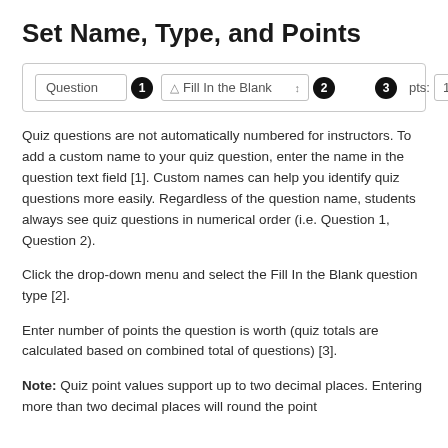Set Name, Type, and Points
[Figure (screenshot): UI screenshot showing a quiz question editor toolbar with a 'Question' text field labeled [1], a 'Fill In the Blank' dropdown labeled [2], and a 'pts: 1' input labeled [3].]
Quiz questions are not automatically numbered for instructors. To add a custom name to your quiz question, enter the name in the question text field [1]. Custom names can help you identify quiz questions more easily. Regardless of the question name, students always see quiz questions in numerical order (i.e. Question 1, Question 2).
Click the drop-down menu and select the Fill In the Blank question type [2].
Enter number of points the question is worth (quiz totals are calculated based on combined total of questions) [3].
Note: Quiz point values support up to two decimal places. Entering more than two decimal places will round the point